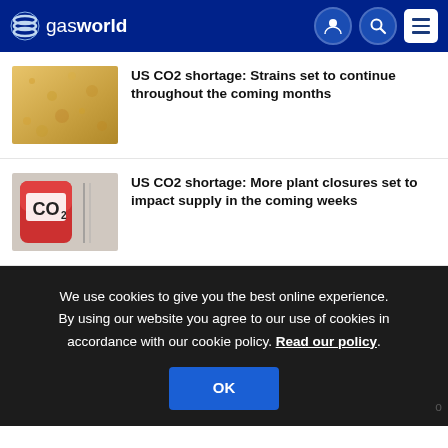gasworld
US CO2 shortage: Strains set to continue throughout the coming months
[Figure (photo): Thumbnail image related to CO2 shortage article 1 - golden/amber background with bubbles]
US CO2 shortage: More plant closures set to impact supply in the coming weeks
[Figure (photo): Thumbnail image of CO2 gas cylinder with CO2 label]
We use cookies to give you the best online experience. By using our website you agree to our use of cookies in accordance with our cookie policy. Read our policy.
OK